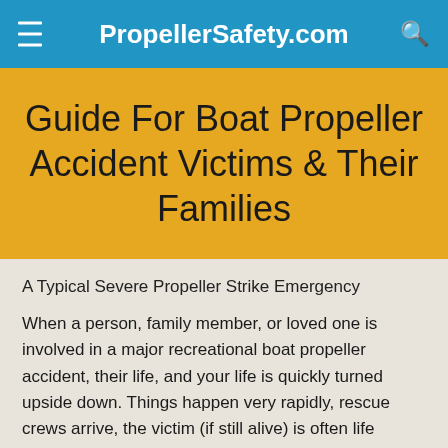PropellerSafety.com
Guide For Boat Propeller Accident Victims & Their Families
A Typical Severe Propeller Strike Emergency
When a person, family member, or loved one is involved in a major recreational boat propeller accident, their life, and your life is quickly turned upside down. Things happen very rapidly, rescue crews arrive, the victim (if still alive) is often life flighted to a major hospital.
Sometimes those left at the scene are still frantically